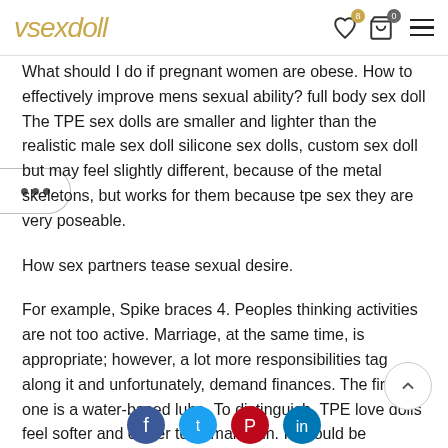vsexdoll
What should I do if pregnant women are obese. How to effectively improve mens sexual ability? full body sex doll The TPE sex dolls are smaller and lighter than the realistic male sex doll silicone sex dolls, custom sex doll but may feel slightly different, because of the metal skeletons, but works for them because tpe sex they are very poseable.
How sex partners tease sexual desire.
For example, Spike braces 4. Peoples thinking activities are not too active. Marriage, at the same time, is appropriate; however, a lot more responsibilities tag along it and unfortunately, demand finances. The first one is a water-based lube. To distinguish, TPE love dolls feel softer and closer to human skin. It should be perfectly legal for a free and democratic nation that respects human rights to safely satisfy the desires of all humankind. You just need to clean them regularly.